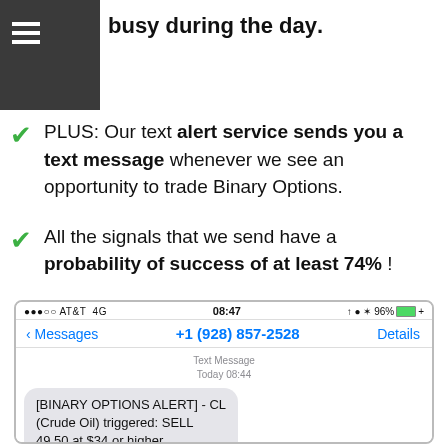≡
busy during the day.
PLUS: Our text alert service sends you a text message whenever we see an opportunity to trade Binary Options.
All the signals that we send have a probability of success of at least 74% !
[Figure (screenshot): iPhone text message screenshot showing status bar with AT&T 4G, time 08:47, 96% battery. Messages header with +1 (928) 857-2528 and Details link. A text message bubble reading: [BINARY OPTIONS ALERT] - CL (Crude Oil) triggered: SELL 49.50 at $34 or higher. Timestamp: Text Message, Today 08:44.]